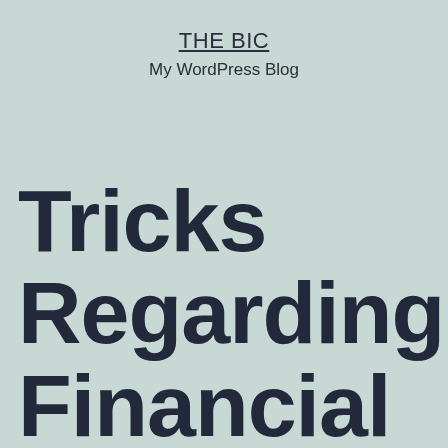THE BIC
My WordPress Blog
Tricks Regarding Financial Investment